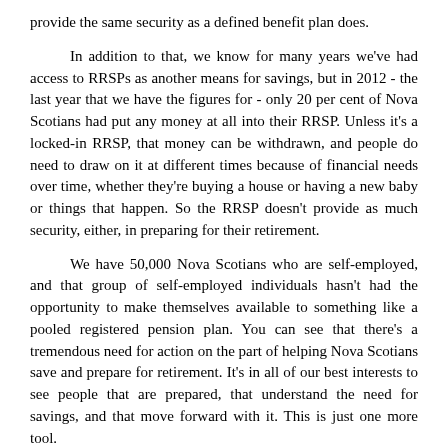provide the same security as a defined benefit plan does.
In addition to that, we know for many years we've had access to RRSPs as another means for savings, but in 2012 - the last year that we have the figures for - only 20 per cent of Nova Scotians had put any money at all into their RRSP. Unless it's a locked-in RRSP, that money can be withdrawn, and people do need to draw on it at different times because of financial needs over time, whether they're buying a house or having a new baby or things that happen. So the RRSP doesn't provide as much security, either, in preparing for their retirement.
We have 50,000 Nova Scotians who are self-employed, and that group of self-employed individuals hasn't had the opportunity to make themselves available to something like a pooled registered pension plan. You can see that there's a tremendous need for action on the part of helping Nova Scotians save and prepare for retirement. It's in all of our best interests to see people that are prepared, that understand the need for savings, and that move forward with it. This is just one more tool.
I've heard the criticism from the Opposition that they don't